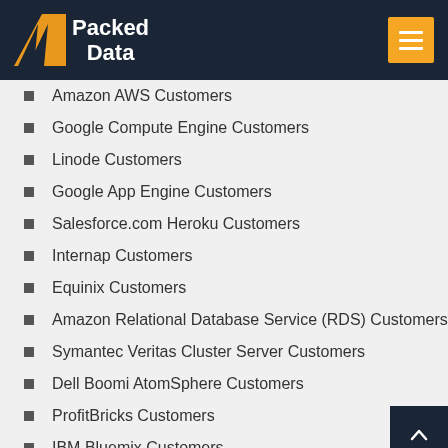Packed Data
Amazon AWS Customers
Google Compute Engine Customers
Linode Customers
Google App Engine Customers
Salesforce.com Heroku Customers
Internap Customers
Equinix Customers
Amazon Relational Database Service (RDS) Customers
Symantec Veritas Cluster Server Customers
Dell Boomi AtomSphere Customers
ProfitBricks Customers
IBM Bluemix Customers